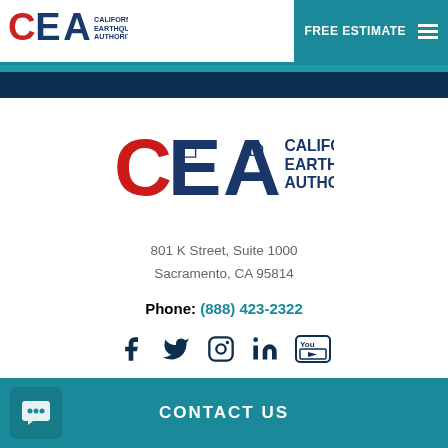California Earthquake Authority - FREE ESTIMATE
[Figure (logo): CEA California Earthquake Authority logo with red C, blue E and A letters and house icon]
801 K Street, Suite 1000
Sacramento, CA 95814
Phone: (888) 423-2322
[Figure (infographic): Social media icons: Facebook, Twitter, Instagram, LinkedIn, YouTube]
CONTACT US